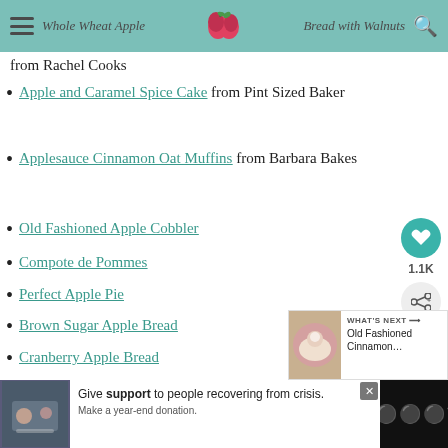Whole Wheat Apple Bread with Walnuts
from Rachel Cooks
Apple and Caramel Spice Cake from Pint Sized Baker
Applesauce Cinnamon Oat Muffins from Barbara Bakes
Old Fashioned Apple Cobbler
Compote de Pommes
Perfect Apple Pie
Brown Sugar Apple Bread
Cranberry Apple Bread
How to Make a Rose Tart